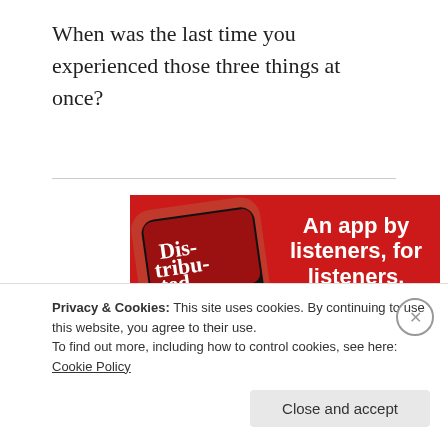When was the last time you experienced those three things at once?
[Figure (screenshot): Advertisement for a podcast app showing a smartphone with 'Dis-tri-bu-ted' podcast on screen and text 'An app by listeners, for listeners.' with a 'Download now' button on red background]
Privacy & Cookies: This site uses cookies. By continuing to use this website, you agree to their use.
To find out more, including how to control cookies, see here: Cookie Policy
Close and accept